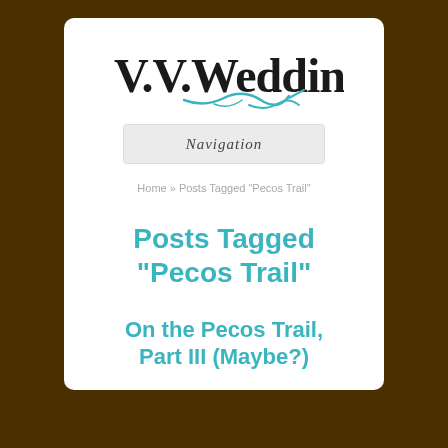[Figure (logo): V.V.Wedding logo with serif bold text and teal handwritten script below]
Navigation
Home » Posts Tagged "Pecos Trail"
Posts Tagged "Pecos Trail"
On the Pecos Trail, Part III (Maybe?)